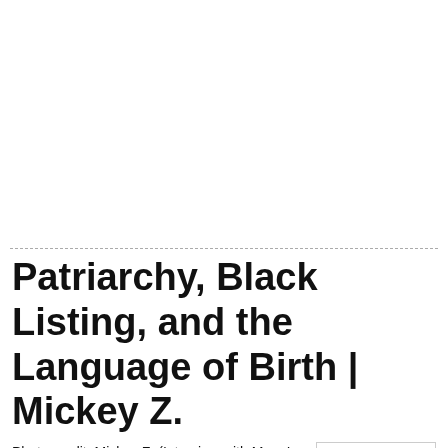Patriarchy, Black Listing, and the Language of Birth | Mickey Z.
Photo credit: Mickey Z. (Interview with Mary Lou Singleton) Mickey Z. – World News Trust Oct. 11, 2015 "I desire nothing more than the abolition of gender and the final smashing of the patriarchy"...
[Figure (logo): WolfShineStop logo with wolf illustration and stylized text]